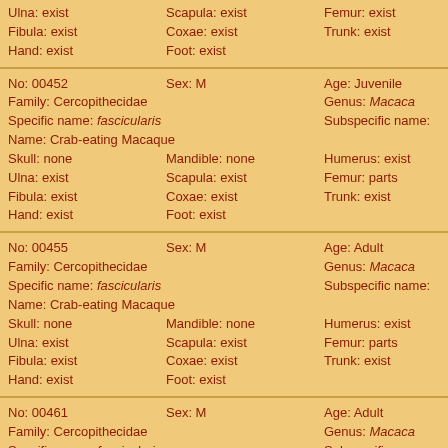| Ulna: exist | Scapula: exist | Femur: exist | Tibia: exis |
| Fibula: exist | Coxae: exist | Trunk: exist |  |
| Hand: exist | Foot: exist |  |  |
| No: 00452 | Sex: M | Age: Juvenile |  |
| Family: Cercopithecidae |  | Genus: Macaca |  |
| Specific name: fascicularis |  | Subspecific name: |  |
| Name: Crab-eating Macaque |  |  |  |
| Skull: none | Mandible: none | Humerus: exist | Radius: ex |
| Ulna: exist | Scapula: exist | Femur: parts | Tibia: exis |
| Fibula: exist | Coxae: exist | Trunk: exist |  |
| Hand: exist | Foot: exist |  |  |
| No: 00455 | Sex: M | Age: Adult |  |
| Family: Cercopithecidae |  | Genus: Macaca |  |
| Specific name: fascicularis |  | Subspecific name: |  |
| Name: Crab-eating Macaque |  |  |  |
| Skull: none | Mandible: none | Humerus: exist | Radius: ex |
| Ulna: exist | Scapula: exist | Femur: parts | Tibia: exis |
| Fibula: exist | Coxae: exist | Trunk: exist |  |
| Hand: exist | Foot: exist |  |  |
| No: 00461 | Sex: M | Age: Adult |  |
| Family: Cercopithecidae |  | Genus: Macaca |  |
| Specific name: fascicularis |  | Subspecific name: |  |
| Name: Crab-eating Macaque |  |  |  |
| Skull: none | Mandible: none | Humerus: exist | Radius: ex |
| Ulna: exist | Scapula: exist | Femur: parts | Tibia: exis |
| Fibula: exist | Coxae: exist | Trunk: exist |  |
| Hand: exist | Foot: exist |  |  |